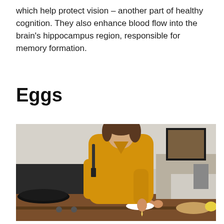which help protect vision – another part of healthy cognition. They also enhance blood flow into the brain's hippocampus region, responsible for memory formation.
Eggs
[Figure (photo): A woman in a yellow bathrobe cracking eggs in a kitchen, with pans on a gas stove and eggs on a wooden countertop in the foreground.]